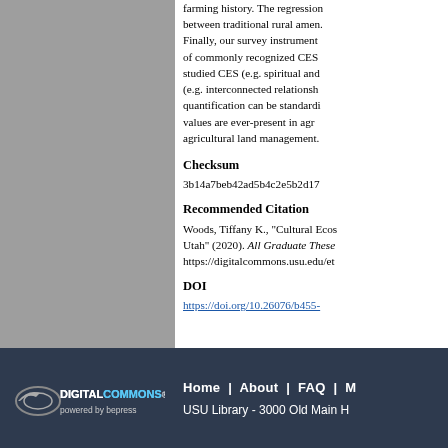[Figure (illustration): Gray rectangle representing a document page thumbnail or image placeholder on the left side of the layout]
farming history. The regression between traditional rural amen. Finally, our survey instrument of commonly recognized CES studied CES (e.g. spiritual and (e.g. interconnected relationsh quantification can be standardi values are ever-present in agr agricultural land management.
Checksum
3b14a7beb42ad5b4c2e5b2d17
Recommended Citation
Woods, Tiffany K., "Cultural Ecos Utah" (2020). All Graduate These https://digitalcommons.usu.edu/et
DOI
https://doi.org/10.26076/b455-
Home | About | FAQ | USU Library - 3000 Old Main H